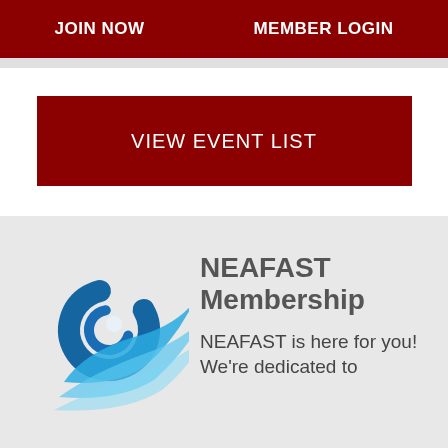JOIN NOW    MEMBER LOGIN
VIEW EVENT LIST
[Figure (logo): NEAFAST logo: blue swirling wave and wing design]
NEAFAST Membership
NEAFAST is here for you! We're dedicated to